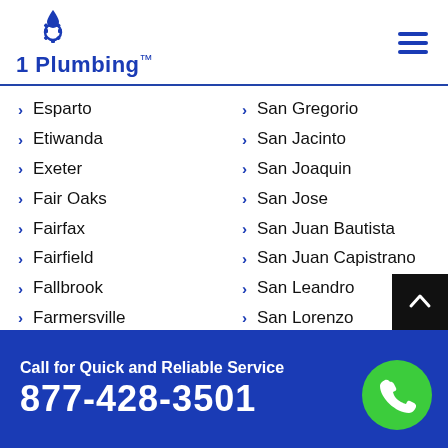[Figure (logo): 1 Plumbing logo with water drop and gear icon, blue text]
Esparto
Etiwanda
Exeter
Fair Oaks
Fairfax
Fairfield
Fallbrook
Farmersville
Farmington
Federal
San Gregorio
San Jacinto
San Joaquin
San Jose
San Juan Bautista
San Juan Capistrano
San Leandro
San Lorenzo
San Lucas
San Luis Obispo
Call for Quick and Reliable Service
877-428-3501